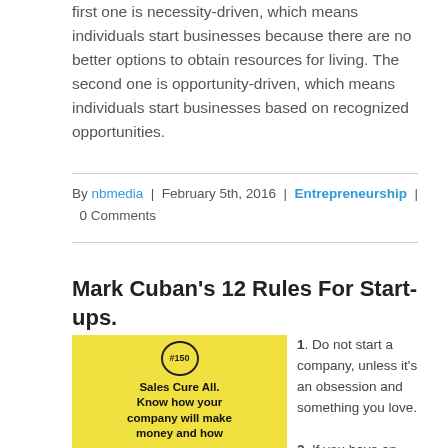first one is necessity-driven, which means individuals start businesses because there are no better options to obtain resources for living. The second one is opportunity-driven, which means individuals start businesses based on recognized opportunities.
By nbmedia | February 5th, 2016 | Entrepreneurship | 0 Comments
Mark Cuban's 12 Rules For Start-ups.
[Figure (infographic): Yellow infographic card #150 with bold text: Sales Cure All. Know how your company will make money and how]
1. Do not start a company, unless it's an obsession and something you love.

2. If you have an